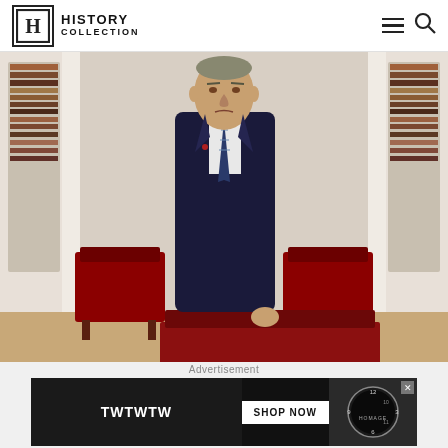History Collection
[Figure (photo): Portrait photo of President Lyndon B. Johnson standing in a formal room with bookshelves, wearing a dark suit with striped tie, resting his hand on a red chair]
Advertisement
[Figure (other): Advertisement banner with TWTWTW text on dark background, SHOP NOW button in white, and a watch face on the right side with X close button]